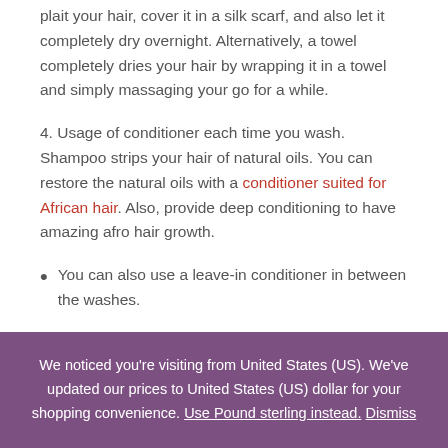plait your hair, cover it in a silk scarf, and also let it completely dry overnight. Alternatively, a towel completely dries your hair by wrapping it in a towel and simply massaging your go for a while.
4. Usage of conditioner each time you wash. Shampoo strips your hair of natural oils. You can restore the natural oils with a conditioner suited for African hair. Also, provide deep conditioning to have amazing afro hair growth.
You can also use a leave-in conditioner in between the washes.
We noticed you're visiting from United States (US). We've updated our prices to United States (US) dollar for your shopping convenience. Use Pound sterling instead. Dismiss